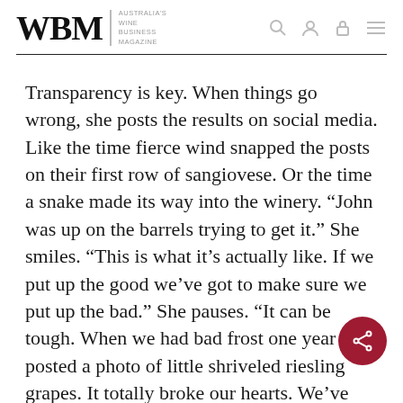WBM | Australia's Wine Business Magazine
Transparency is key. When things go wrong, she posts the results on social media. Like the time fierce wind snapped the posts on their first row of sangiovese. Or the time a snake made its way into the winery. “John was up on the barrels trying to get it.” She smiles. “This is what it’s actually like. If we put up the good we’ve got to make sure we put up the bad.” She pauses. “It can be tough. When we had bad frost one year I posted a photo of little shriveled riesling grapes. It totally broke our hearts. We’ve got to show